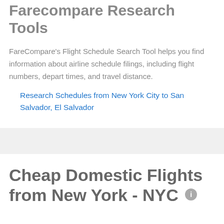Farecompare Research Tools
FareCompare's Flight Schedule Search Tool helps you find information about airline schedule filings, including flight numbers, depart times, and travel distance.
Research Schedules from New York City to San Salvador, El Salvador
Cheap Domestic Flights from New York - NYC